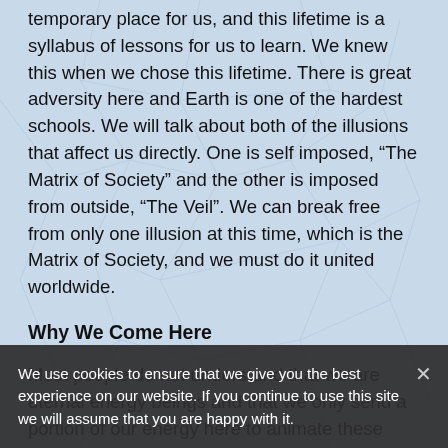temporary place for us, and this lifetime is a syllabus of lessons for us to learn. We knew this when we chose this lifetime. There is great adversity here and Earth is one of the hardest schools. We will talk about both of the illusions that affect us directly. One is self imposed, “The Matrix of Society” and the other is imposed from outside, “The Veil”. We can break free from only one illusion at this time, which is the Matrix of Society, and we must do it united worldwide.
Why We Come Here
Most people do not understand that we are eternal energy beings and that we only send a portion of our energy here to animate these bodies. What we experience here seems very real to us and there is an illusion of us being separate beings. But in fact, we are all connected to one another, just as connected to the same Consciousness. We are all sharing the same conciousness, in that there is only one conciousness in this entire illusionary cosmos and in our spiritual reality that I call the Spirit World.
We use cookies to ensure that we give you the best experience on our website. If you continue to use this site we will assume that you are happy with it.